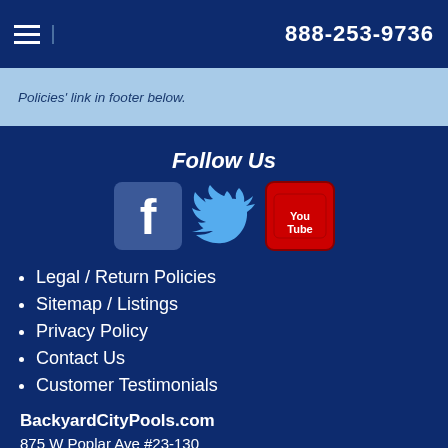888-253-9736
Policies' link in footer below.
Follow Us
[Figure (illustration): Social media icons: Facebook, Twitter, YouTube]
Legal / Return Policies
Sitemap / Listings
Privacy Policy
Contact Us
Customer Testimonials
BackyardCityPools.com
875 W Poplar Ave #23-130
Collierville TN 38017
901 - Direct
901 - Fax